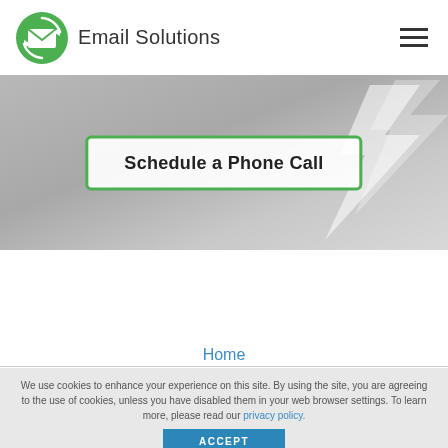Email Solutions
[Figure (screenshot): Hero banner with lightning bolt background and a CTA button labeled 'Schedule a Phone Call' with green border]
Home
We use cookies to enhance your experience on this site. By using the site, you are agreeing to the use of cookies, unless you have disabled them in your web browser settings. To learn more, please read our privacy policy.
ACCEPT